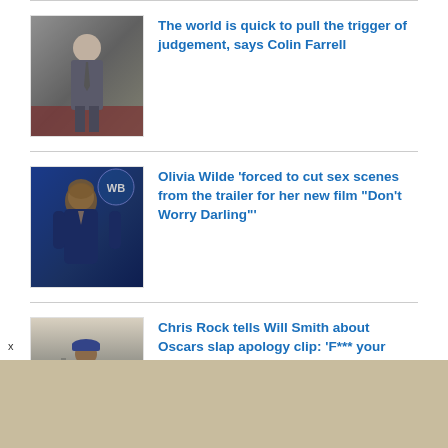The world is quick to pull the trigger of judgement, says Colin Farrell
Olivia Wilde 'forced to cut sex scenes from the trailer for her new film “Don't Worry Darling”'
Chris Rock tells Will Smith about Oscars slap apology clip: ‘F*** your hostage video’